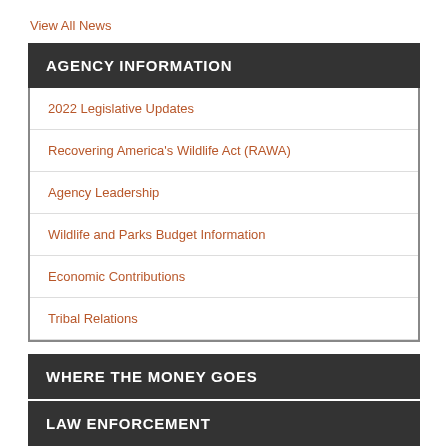View All News
AGENCY INFORMATION
2022 Legislative Updates
Recovering America's Wildlife Act (RAWA)
Agency Leadership
Wildlife and Parks Budget Information
Economic Contributions
Tribal Relations
WHERE THE MONEY GOES
LAW ENFORCEMENT